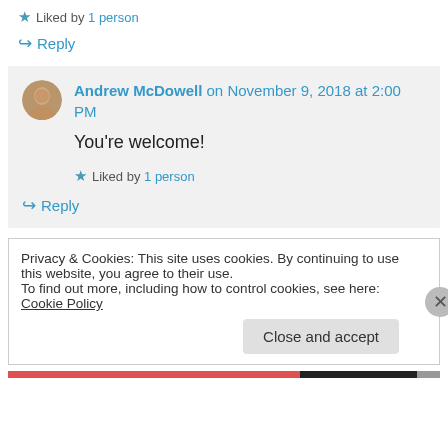★ Liked by 1 person
↪ Reply
Andrew McDowell on November 9, 2018 at 2:00 PM
You're welcome!
★ Liked by 1 person
↪ Reply
Privacy & Cookies: This site uses cookies. By continuing to use this website, you agree to their use. To find out more, including how to control cookies, see here: Cookie Policy
Close and accept